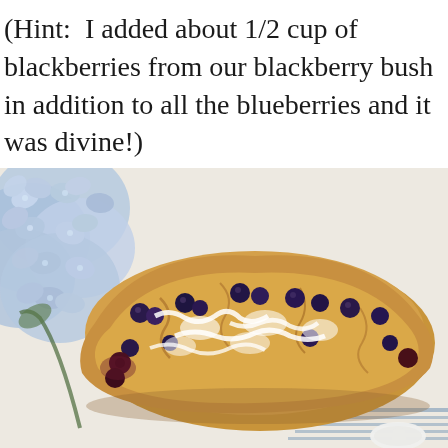(Hint:  I added about 1/2 cup of blackberries from our blackberry bush in addition to all the blueberries and it was divine!)
[Figure (photo): Overhead photo of a blueberry and blackberry scone with white glaze drizzled on top, placed on a white linen cloth with blue hydrangea flowers in the upper left and a white spoon in the lower right corner.]